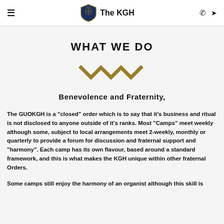≡   The KGH   ☎ ➤
WHAT WE DO
[Figure (illustration): Decorative gold zigzag/wave divider icon]
Benevolence and Fraternity,
The GUOKGH is a "closed" order which is to say that it's business and ritual is not disclosed to anyone outside of it's ranks.  Most  "Camps" meet weekly although some, subject to local arrangements meet 2-weekly, monthly or quarterly to provide a forum for discussion and fraternal support and "harmony".   Each camp has its own flavour, based around a standard framework, and this is what makes the KGH unique within other fraternal Orders.
Some camps still enjoy the harmony of an organist although this skill is